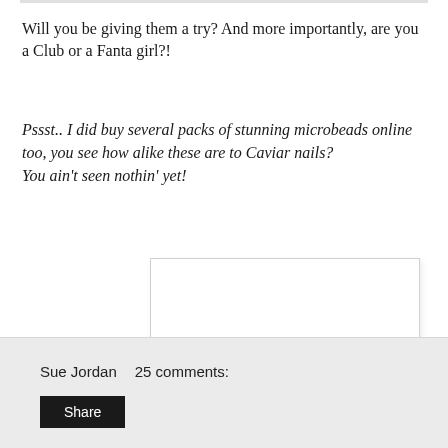Will you be giving them a try? And more importantly, are you a Club or a Fanta girl?!
Pssst.. I did buy several packs of stunning microbeads online too, you see how alike these are to Caviar nails? You ain't seen nothin' yet!
[Figure (illustration): Handwritten cursive signature reading 'CherrySue x' in pink/red ink on white background with light border]
Sue Jordan   25 comments:   Share